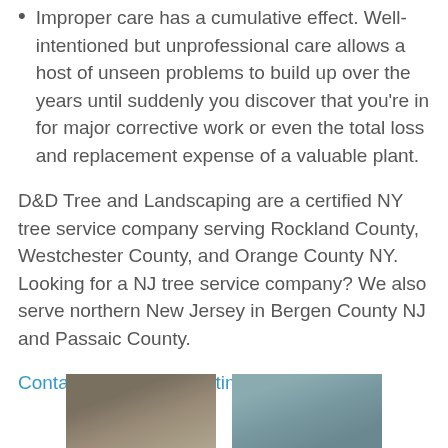Improper care has a cumulative effect. Well-intentioned but unprofessional care allows a host of unseen problems to build up over the years until suddenly you discover that you're in for major corrective work or even the total loss and replacement expense of a valuable plant.
D&D Tree and Landscaping are a certified NY tree service company serving Rockland County, Westchester County, and Orange County NY. Looking for a NJ tree service company? We also serve northern New Jersey in Bergen County NJ and Passaic County.
Contact us for a free estimate!
[Figure (photo): Two photos of trees side by side at the bottom of the page. Left photo shows a close-up of a tree trunk with rough bark. Right photo shows a tall pine tree.]